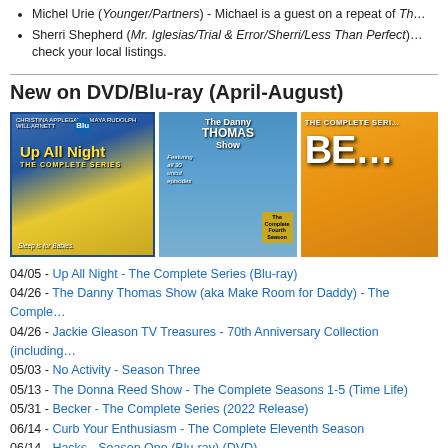Michel Urie (Younger/Partners) - Michael is a guest on a repeat of Th…
Sherri Shepherd (Mr. Iglesias/Trial & Error/Sherri/Less Than Perfect)… check your local listings.
New on DVD/Blu-ray (April-August)
[Figure (photo): Three DVD/Blu-ray cover images: Up All Night - The Complete Series (Blu-ray), The Danny Thomas Show - The Complete Fourth Season, and Becker - The Complete Series]
04/05 - Up All Night - The Complete Series (Blu-ray)
04/26 - The Danny Thomas Show (aka Make Room for Daddy) - The Comple…
04/26 - Jackie Gleason TV Treasures - 70th Anniversary Collection (including…
05/03 - No Activity - Season Three
05/13 - The Donna Reed Show - The Complete Seasons 1-5 (Time Life)
05/31 - Becker - The Complete Series (2022 Release)
06/14 - Curb Your Enthusiasm - The Complete Eleventh Season
06/14 - Hacks - Season One (Blu-ray) (DVD)